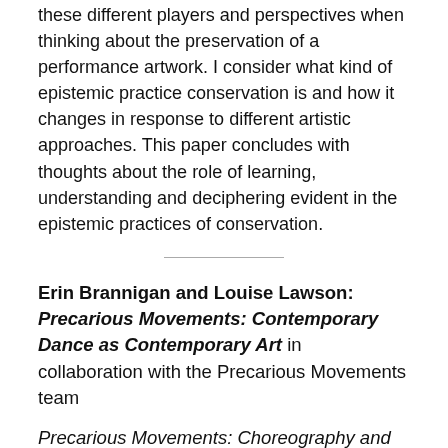these different players and perspectives when thinking about the preservation of a performance artwork. I consider what kind of epistemic practice conservation is and how it changes in response to different artistic approaches. This paper concludes with thoughts about the role of learning, understanding and deciphering evident in the epistemic practices of conservation.
Erin Brannigan and Louise Lawson: Precarious Movements: Contemporary Dance as Contemporary Art in collaboration with the Precarious Movements team
Precarious Movements: Choreography and the Museum (2021-2024) is an Australia Research Council funded project that aims to bring artists, researchers and institutions into dialogue about best-practice to support both the choreographer and the museum, and